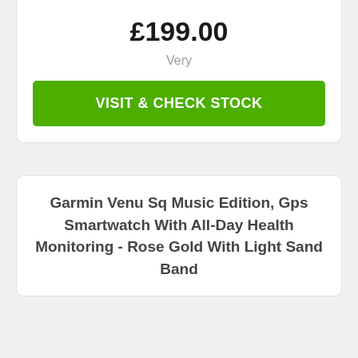£199.00
Very
VISIT & CHECK STOCK
Garmin Venu Sq Music Edition, Gps Smartwatch With All-Day Health Monitoring - Rose Gold With Light Sand Band